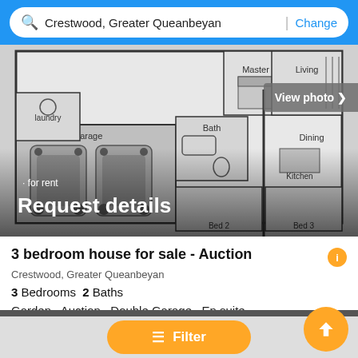Crestwood, Greater Queanbeyan | Change
[Figure (schematic): Floor plan of a 3-bedroom house showing Master bedroom, Living area, Laundry, Bath, Dining, Kitchen, Garage with two cars, Bed 2, and Bed 3. Overlaid text: 'for rent' and 'Request details'. A 'View photo >' button appears top-right of the image.]
3 bedroom house for sale - Auction
Crestwood, Greater Queanbeyan
3 Bedrooms  2 Baths
Garden · Auction · Double Garage · En suite
First seen over a month ago on Belleproperty AU
[Figure (photo): Partial photo of an interior space showing pendant ceiling lights, visible at the bottom of the page.]